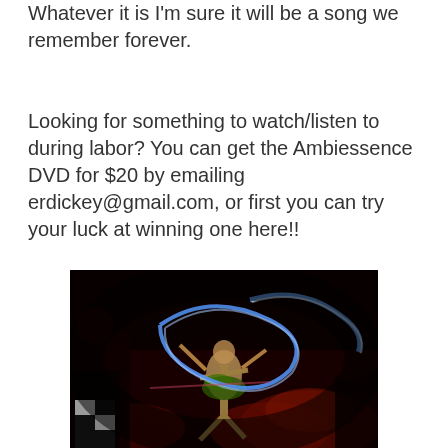Whatever it is I'm sure it will be a song we remember forever.
Looking for something to watch/listen to during labor? You can get the Ambiessence DVD for $20 by emailing erdickey@gmail.com, or first you can try your luck at winning one here!!
[Figure (photo): A dark performance photo showing dancers on stage with colorful light trails (blue, red) against a dark/black background. The scene appears to be a theatrical or circus-style performance with dramatic lighting.]